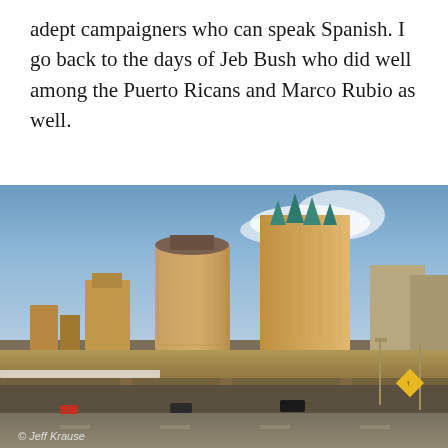adept campaigners who can speak Spanish. I go back to the days of Jeb Bush who did well among the Puerto Ricans and Marco Rubio as well.
[Figure (photo): Urban skyline photo showing tall city buildings including a prominent tower with teal-colored pyramidal rooftop spires, shot from a highway overpass/freeway in warm golden light. Photo credit: © Jeff Krause]